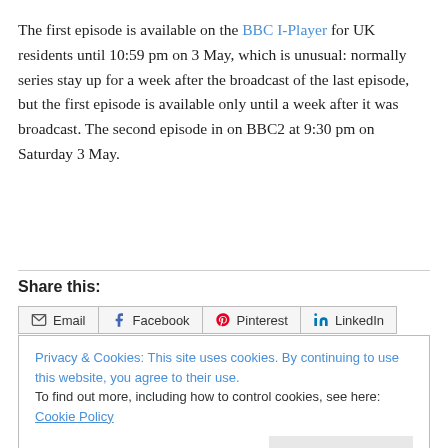The first episode is available on the BBC I-Player for UK residents until 10:59 pm on 3 May, which is unusual: normally series stay up for a week after the broadcast of the last episode, but the first episode is available only until a week after it was broadcast. The second episode in on BBC2 at 9:30 pm on Saturday 3 May.
Share this:
Email | Facebook | Pinterest | LinkedIn
Privacy & Cookies: This site uses cookies. By continuing to use this website, you agree to their use. To find out more, including how to control cookies, see here: Cookie Policy
Close and accept